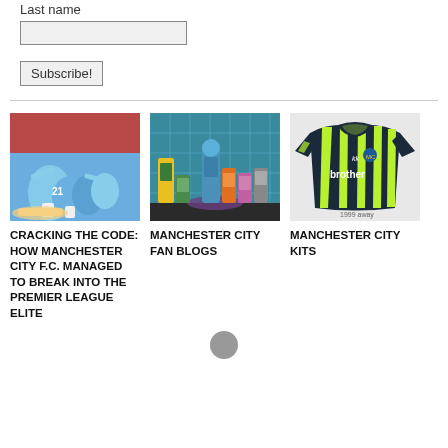Last name
[Figure (screenshot): Text input box for last name field]
[Figure (screenshot): Subscribe button]
[Figure (photo): Manchester City football players celebrating in blue kits on a pitch with crowd in background]
CRACKING THE CODE: HOW MANCHESTER CITY F.C. MANAGED TO BREAK INTO THE PREMIER LEAGUE ELITE
[Figure (photo): Colorful collectible toy figures/dispensers on a shelf against a blue background]
MANCHESTER CITY FAN BLOGS
[Figure (photo): Manchester City football jersey in green and dark navy stripes with Brother sponsor, labeled 1999 away]
MANCHESTER CITY KITS